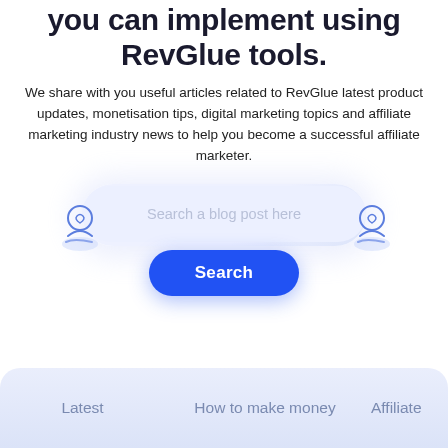you can implement using RevGlue tools.
We share with you useful articles related to RevGlue latest product updates, monetisation tips, digital marketing topics and affiliate marketing industry news to help you become a successful affiliate marketer.
[Figure (screenshot): Search bar with placeholder text 'Search a blog post here', a blue Search button below, and two decorative bookmark/heart icons on either side.]
[Figure (infographic): Tab navigation bar at the bottom showing: Latest, How to make money, Affiliate (partially visible)]